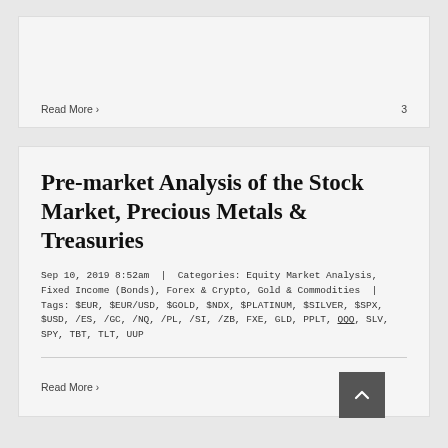Read More > 3
Pre-market Analysis of the Stock Market, Precious Metals & Treasuries
Sep 10, 2019 8:52am | Categories: Equity Market Analysis, Fixed Income (Bonds), Forex & Crypto, Gold & Commodities | Tags: $EUR, $EUR/USD, $GOLD, $NDX, $PLATINUM, $SILVER, $SPX, $USD, /ES, /GC, /NQ, /PL, /SI, /ZB, FXE, GLD, PPLT, QQQ, SLV, SPY, TBT, TLT, UUP
Read More > 3